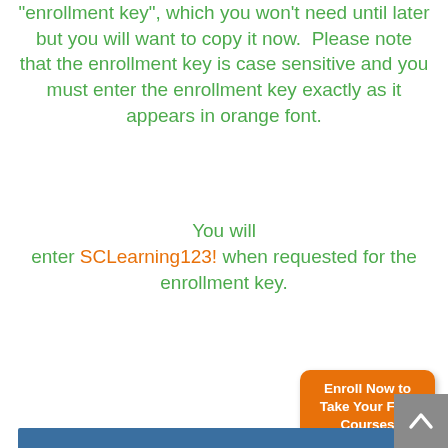“enrollment key”, which you won’t need until later but you will want to copy it now.  Please note that the enrollment key is case sensitive and you must enter the enrollment key exactly as it appears in orange font.
You will enter SCLearning123! when requested for the enrollment key.
[Figure (other): Orange rounded-rectangle button with white bold text reading 'Enroll Now to Take Your Free Courses']
[Figure (other): Grey scroll-to-top button with upward chevron arrow in bottom-right corner]
[Figure (other): Blue horizontal bar at the bottom of the page]